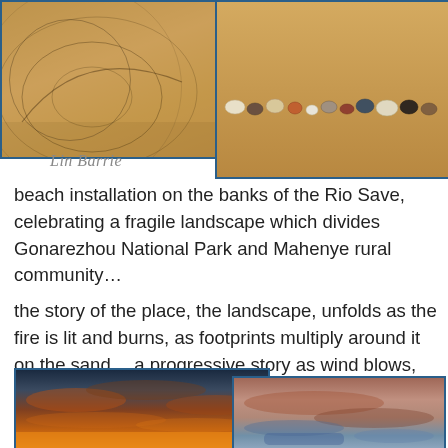[Figure (photo): Two overlapping photos: left shows sand with circular line drawings/installation; right shows a row of colorful pebbles and shells on sand. Attribution 'Lin Barrie' in cursive below left photo.]
beach installation on the banks of the Rio Save, celebrating a fragile landscape which divides Gonarezhou National Park and Mahenye rural community…
the story of the place, the landscape, unfolds as the fire is lit and burns, as footprints multiply around it on the sand… a progressive story as wind blows, water flows, clouds shift and fire burns….
[Figure (photo): Two overlapping photos at the bottom: left shows a dramatic orange and red sunset sky with clouds; right shows an abstract painterly image with earthy red-brown and blue tones.]